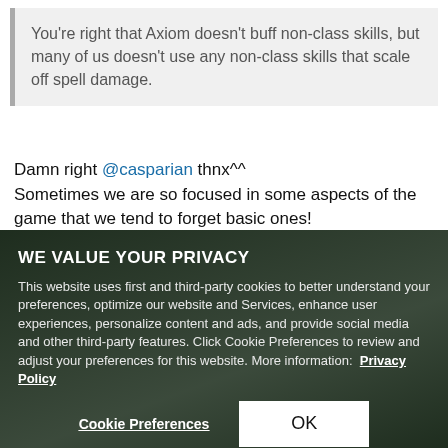You're right that Axiom doesn't buff non-class skills, but many of us doesn't use any non-class skills that scale off spell damage.
Damn right @casparian thnx^^
Sometimes we are so focused in some aspects of the game that we tend to forget basic ones!
WE VALUE YOUR PRIVACY
This website uses first and third-party cookies to better understand your preferences, optimize our website and Services, enhance user experiences, personalize content and ads, and provide social media and other third-party features. Click Cookie Preferences to review and adjust your preferences for this website. More information: Privacy Policy
Cookie Preferences | OK